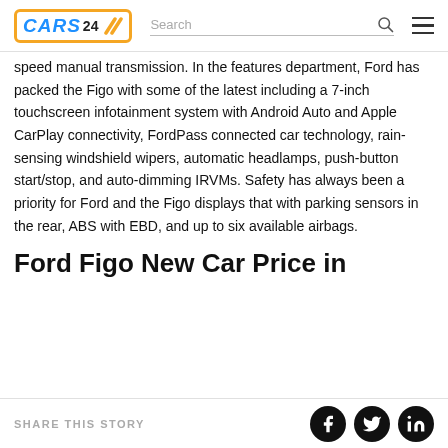CARS24 | Search
speed manual transmission. In the features department, Ford has packed the Figo with some of the latest including a 7-inch touchscreen infotainment system with Android Auto and Apple CarPlay connectivity, FordPass connected car technology, rain-sensing windshield wipers, automatic headlamps, push-button start/stop, and auto-dimming IRVMs. Safety has always been a priority for Ford and the Figo displays that with parking sensors in the rear, ABS with EBD, and up to six available airbags.
Ford Figo New Car Price in
SHARE THIS STORY